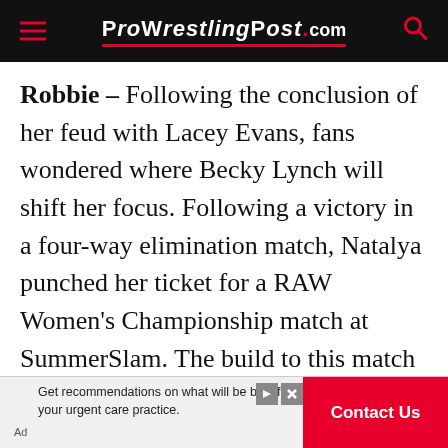ProWrestlingPost.com
Robbie – Following the conclusion of her feud with Lacey Evans, fans wondered where Becky Lynch will shift her focus. Following a victory in a four-way elimination match, Natalya punched her ticket for a RAW Women's Championship match at SummerSlam. The build to this match has been fairly interesting, with Lynch showing the same edge she became popular for and Natalya as the defiant veteran within the women's division. In terms of wrestling, this may end up being the most polished bout of the night. With that said, I don't see any result occurring other than the champion retaining. From there, The Man will shift her focus, whether it's with a new face or a